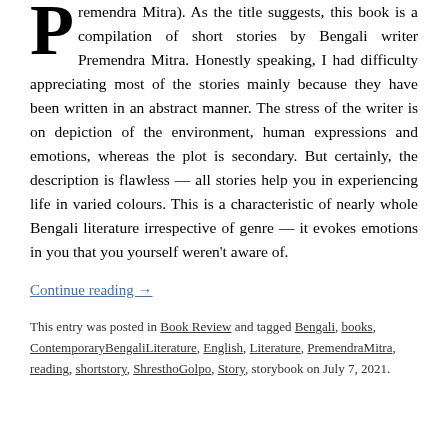Premendra Mitra). As the title suggests, this book is a compilation of short stories by Bengali writer Premendra Mitra. Honestly speaking, I had difficulty appreciating most of the stories mainly because they have been written in an abstract manner. The stress of the writer is on depiction of the environment, human expressions and emotions, whereas the plot is secondary. But certainly, the description is flawless — all stories help you in experiencing life in varied colours. This is a characteristic of nearly whole Bengali literature irrespective of genre — it evokes emotions in you that you yourself weren't aware of.
Continue reading →
This entry was posted in Book Review and tagged Bengali, books, ContemporaryBengaliLiterature, English, Literature, PremendraMitra, reading, shortstory, ShresthoGolpo, Story, storybook on July 7, 2021.